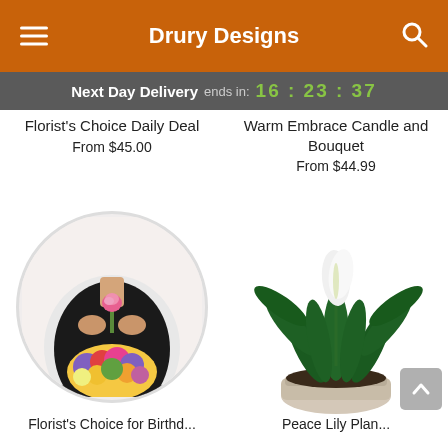Drury Designs
Next Day Delivery ends in: 16:23:37
Florist's Choice Daily Deal
From $45.00
Warm Embrace Candle and Bouquet
From $44.99
[Figure (photo): A florist in a black apron holding a pink rose with a colorful mixed bouquet below, shown in a circular frame]
[Figure (photo): A peace lily plant in a white wicker basket pot]
Florist's Choice for Birthd...
Peace Lily Plan...